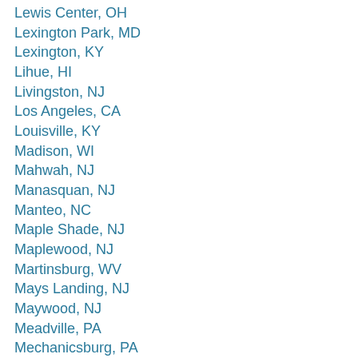Lewis Center, OH
Lexington Park, MD
Lexington, KY
Lihue, HI
Livingston, NJ
Los Angeles, CA
Louisville, KY
Madison, WI
Mahwah, NJ
Manasquan, NJ
Manteo, NC
Maple Shade, NJ
Maplewood, NJ
Martinsburg, WV
Mays Landing, NJ
Maywood, NJ
Meadville, PA
Mechanicsburg, PA
Media, PA
Mercer County, NJ
Merchantville, NJ
Metuchen, NJ
Middletown, DE